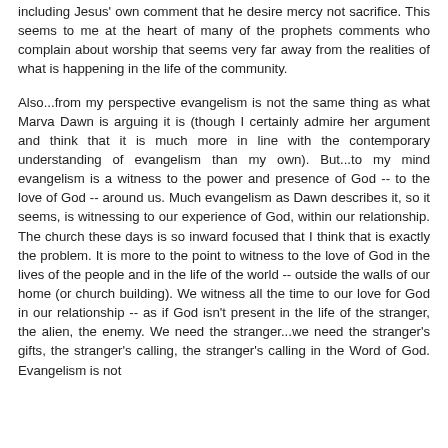including Jesus' own comment that he desire mercy not sacrifice. This seems to me at the heart of many of the prophets comments who complain about worship that seems very far away from the realities of what is happening in the life of the community.
Also...from my perspective evangelism is not the same thing as what Marva Dawn is arguing it is (though I certainly admire her argument and think that it is much more in line with the contemporary understanding of evangelism than my own). But...to my mind evangelism is a witness to the power and presence of God -- to the love of God -- around us. Much evangelism as Dawn describes it, so it seems, is witnessing to our experience of God, within our relationship. The church these days is so inward focused that I think that is exactly the problem. It is more to the point to witness to the love of God in the lives of the people and in the life of the world -- outside the walls of our home (or church building). We witness all the time to our love for God in our relationship -- as if God isn't present in the life of the stranger, the alien, the enemy. We need the stranger...we need the stranger's gifts, the stranger's calling, the stranger's calling in the Word of God. Evangelism is not